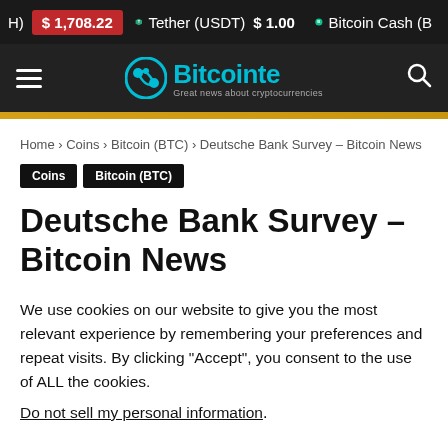H) $1,708.22  Tether (USDT) $1.00  Bitcoin Cash (B
[Figure (logo): Bitcointe logo with circular icon and tagline 'Great news about cryptocurrencies']
Home › Coins › Bitcoin (BTC) › Deutsche Bank Survey – Bitcoin News
Coins
Bitcoin (BTC)
Deutsche Bank Survey – Bitcoin News
We use cookies on our website to give you the most relevant experience by remembering your preferences and repeat visits. By clicking "Accept", you consent to the use of ALL the cookies.
Do not sell my personal information.
Cookie settings  ACCEPT